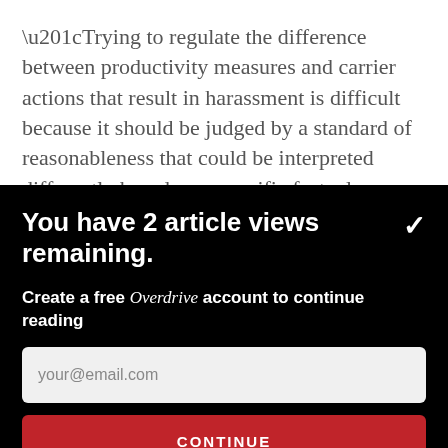“Trying to regulate the difference between productivity measures and carrier actions that result in harassment is difficult because it should be judged by a standard of reasonableness that could be interpreted differently based on a specific factual circumstance,” the item read.
You have 2 article views remaining.
Create a free Overdrive account to continue reading